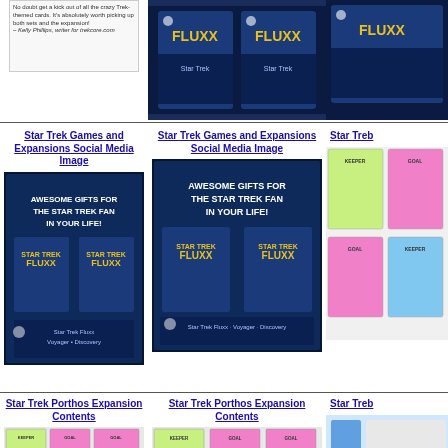[Figure (photo): Star Trek Fluxx card game product images - top row showing game boxes]
[Figure (photo): Partial third column - Star Trek product image cropped]
Star Trek Games and Expansions Social Media Image
[Figure (photo): Social media promotional image: Awesome Gifts for the Star Trek Fan in Your Life - Star Trek Fluxx games]
Star Trek Games and Expansions Social Media Image
[Figure (photo): Social media promotional image duplicate: Awesome Gifts for the Star Trek Fan in Your Life - Star Trek Fluxx games]
Star Trek (partial, cropped)
[Figure (photo): Partial third column - card game keeper/goal cards cropped]
Star Trek Porthos Expansion Contents
[Figure (photo): Star Trek Porthos Expansion card layout showing Keeper, Goal, Action cards]
Star Trek Porthos Expansion Contents
[Figure (photo): Star Trek Porthos Expansion card layout duplicate]
Star Trek (partial, cropped at right edge)
[Figure (photo): Partial third column - blue item cropped at right edge]